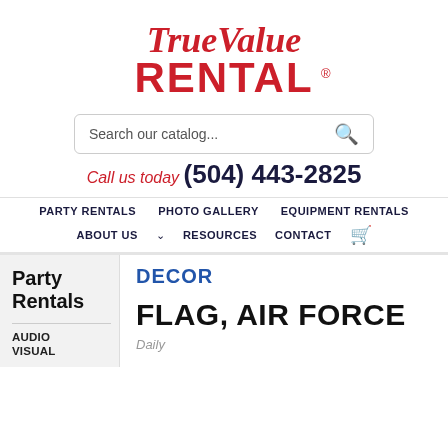[Figure (logo): True Value Rental logo in red script and bold red text]
Search our catalog...
Call us today (504) 443-2825
PARTY RENTALS   PHOTO GALLERY   EQUIPMENT RENTALS   ABOUT US   v RESOURCES   CONTACT
DECOR
Party Rentals
AUDIO VISUAL
FLAG, AIR FORCE